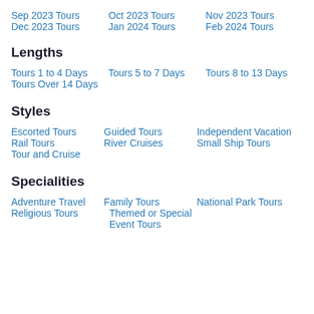Sep 2023 Tours
Oct 2023 Tours
Nov 2023 Tours
Dec 2023 Tours
Jan 2024 Tours
Feb 2024 Tours
Lengths
Tours 1 to 4 Days
Tours 5 to 7 Days
Tours 8 to 13 Days
Tours Over 14 Days
Styles
Escorted Tours
Guided Tours
Independent Vacation
Rail Tours
River Cruises
Small Ship Tours
Tour and Cruise
Specialities
Adventure Travel
Family Tours
National Park Tours
Religious Tours
Themed or Special
Event Tours